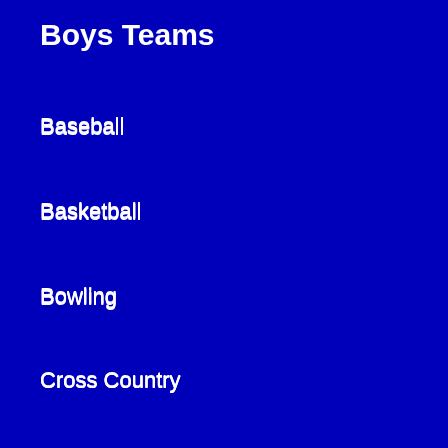Boys Teams
Baseball
Basketball
Bowling
Cross Country
Football
Golf
Lacrosse
Soccer
Tennis
Track